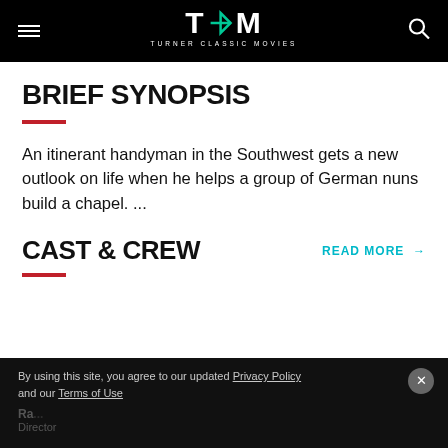TCM - Turner Classic Movies
BRIEF SYNOPSIS
An itinerant handyman in the Southwest gets a new outlook on life when he helps a group of German nuns build a chapel. ...
CAST & CREW
By using this site, you agree to our updated Privacy Policy and our Terms of Use